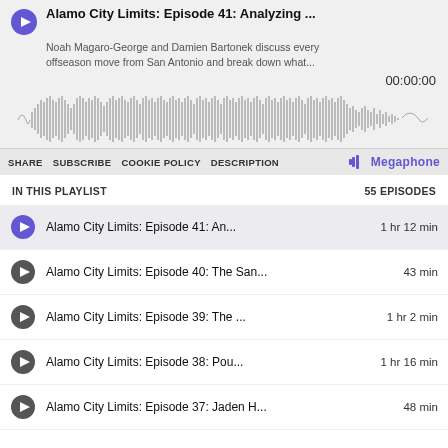Alamo City Limits: Episode 41: Analyzing ...
Noah Magaro-George and Damien Bartonek discuss every offseason move from San Antonio and break down what...
00:00:00
[Figure (other): Audio waveform visualization for the podcast episode]
SHARE  SUBSCRIBE  COOKIE POLICY  DESCRIPTION  Megaphone
IN THIS PLAYLIST   55 EPISODES
Alamo City Limits: Episode 41: An...  1 hr 12 min
Alamo City Limits: Episode 40: The San...  43 min
Alamo City Limits: Episode 39: The ...  1 hr 2 min
Alamo City Limits: Episode 38: Pou...1 hr 16 min
Alamo City Limits: Episode 37: Jaden H...48 min